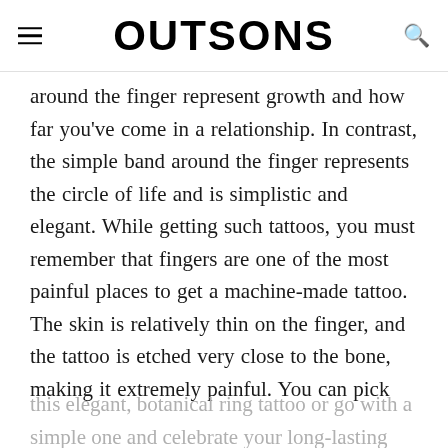OUTSONS
around the finger represent growth and how far you've come in a relationship. In contrast, the simple band around the finger represents the circle of life and is simplistic and elegant. While getting such tattoos, you must remember that fingers are one of the most painful places to get a machine-made tattoo. The skin is relatively thin on the finger, and the tattoo is etched very close to the bone, making it extremely painful. You can pick
this elegant, botanical ring tattoo or go with a simple one and celebrate your long-lasting love